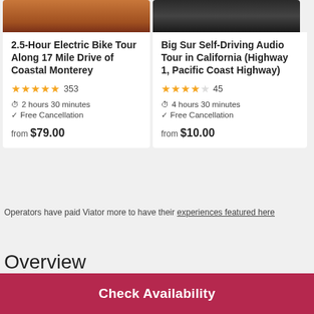[Figure (photo): Photo of electric bike tour - person on orange bike]
[Figure (photo): Photo of Big Sur self-driving audio tour - car/highway]
2.5-Hour Electric Bike Tour Along 17 Mile Drive of Coastal Monterey
★★★★★ 353
⏱ 2 hours 30 minutes
✓ Free Cancellation
from $79.00
Big Sur Self-Driving Audio Tour in California (Highway 1, Pacific Coast Highway)
★★★★☆ 45
⏱ 4 hours 30 minutes
✓ Free Cancellation
from $10.00
Operators have paid Viator more to have their experiences featured here
Overview
Check Availability